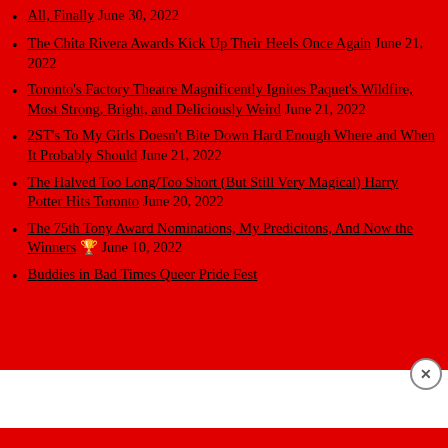All, Finally June 30, 2022
The Chita Rivera Awards Kick Up Their Heels Once Again June 21, 2022
Toronto's Factory Theatre Magnificently Ignites Paquet's Wildfire, Most Strong, Bright, and Deliciously Weird June 21, 2022
2ST's To My Girls Doesn't Bite Down Hard Enough Where and When It Probably Should June 21, 2022
The Halved Too Long/Too Short (But Still Very Magical) Harry Potter Hits Toronto June 20, 2022
The 75th Tony Award Nominations, My Predicitons, And Now the Winners 🏆 June 10, 2022
Buddies in Bad Times Queer Pride Fest
Advertisements